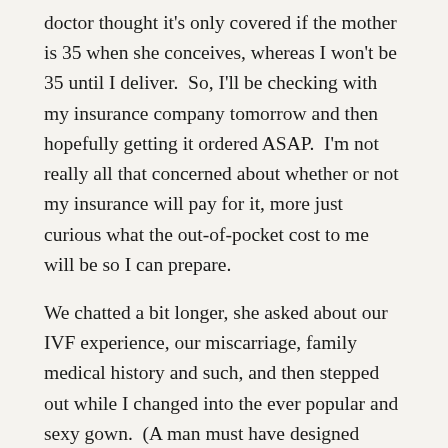doctor thought it's only covered if the mother is 35 when she conceives, whereas I won't be 35 until I deliver.  So, I'll be checking with my insurance company tomorrow and then hopefully getting it ordered ASAP.  I'm not really all that concerned about whether or not my insurance will pay for it, more just curious what the out-of-pocket cost to me will be so I can prepare.
We chatted a bit longer, she asked about our IVF experience, our miscarriage, family medical history and such, and then stepped out while I changed into the ever popular and sexy gown.  (A man must have designed them, right??)  I wasn't due for a pap, but she did want to check my cervix, and also felt my uterus and such, letting me know everything was normal.  She did a quick